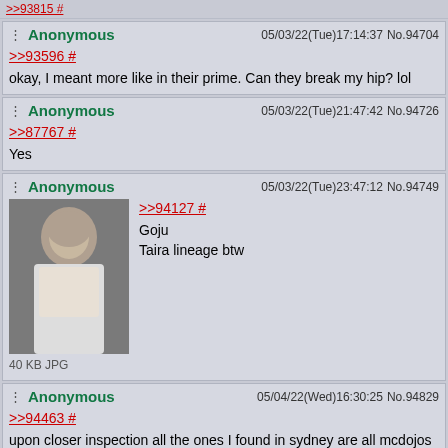>>93815 #
Anonymous 05/03/22(Tue)17:14:37 No.94704
>>93596 #
okay, I meant more like in their prime. Can they break my hip? lol
Anonymous 05/03/22(Tue)21:47:42 No.94726
>>87767 #
Yes
Anonymous 05/03/22(Tue)23:47:12 No.94749
>>94127 #
Goju
Taira lineage btw
40 KB JPG
Anonymous 05/04/22(Wed)16:30:25 No.94829
>>94463 #
upon closer inspection all the ones I found in sydney are all mcdojos catering to kids, where are you based?